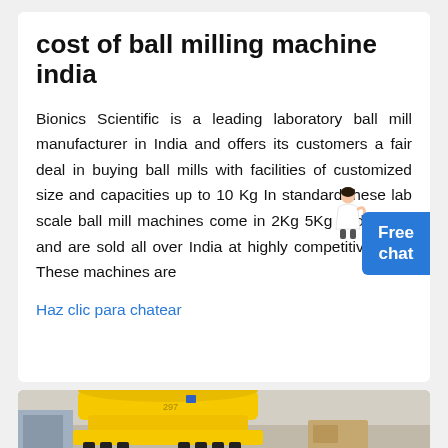cost of ball milling machine india
Bionics Scientific is a leading laboratory ball mill manufacturer in India and offers its customers a fair deal in buying ball mills with facilities of customized size and capacities up to 10 Kg In standard these lab scale ball mill machines come in 2Kg 5Kg and 10 Kg and are sold all over India at highly competitive price These machines are
Haz clic para chatear
[Figure (photo): Yellow industrial ball milling machine with spring suspension base on a factory floor]